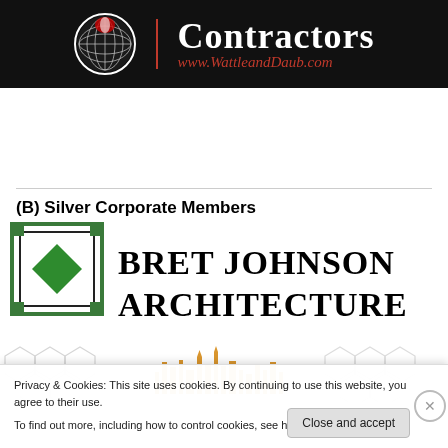[Figure (logo): Wattle and Daub Contractors banner with logo and website URL www.WattleandDaub.com on dark background]
(B) Silver Corporate Members
[Figure (logo): Bret Johnson Architecture logo with green diamond in square frame]
[Figure (illustration): Partial background illustration with hexagonal patterns and orange cityscape silhouette]
Privacy & Cookies: This site uses cookies. By continuing to use this website, you agree to their use.
To find out more, including how to control cookies, see here: Cookie Policy
Close and accept